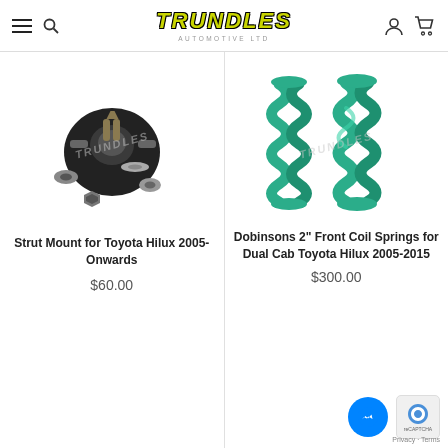TRUNDLES AUTOMOTIVE LTD
[Figure (photo): Strut mount hardware kit for Toyota Hilux including bearing, top mount, nuts and washers, photographed on white background with Trundles watermark]
Strut Mount for Toyota Hilux 2005-Onwards
$60.00
[Figure (photo): Dobinsons teal/green coil springs pair for Toyota Hilux, photographed on white background with Trundles watermark]
Dobinsons 2" Front Coil Springs for Dual Cab Toyota Hilux 2005-2015
$300.00
Privacy - Terms